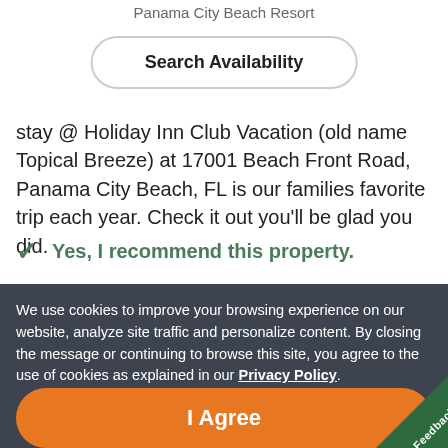Panama City Beach Resort
Search Availability
stay @ Holiday Inn Club Vacation (old name Topical Breeze) at 17001 Beach Front Road, Panama City Beach, FL is our families favorite trip each year. Check it out you'll be glad you did.
Yes, I recommend this property.
We use cookies to improve your browsing experience on our website, analyze site traffic and personalize content. By closing the message or continuing to browse this site, you agree to the use of cookies as explained in our Privacy Policy.
I Agree